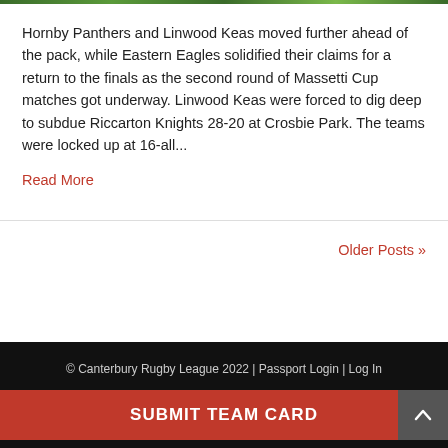[Figure (photo): Green/nature image banner strip at top of page]
Hornby Panthers and Linwood Keas moved further ahead of the pack, while Eastern Eagles solidified their claims for a return to the finals as the second round of Massetti Cup matches got underway. Linwood Keas were forced to dig deep to subdue Riccarton Knights 28-20 at Crosbie Park. The teams were locked up at 16-all...
Read More
Older Posts »
© Canterbury Rugby League 2022 | Passport Login | Log In
SUBMIT TEAM CARD